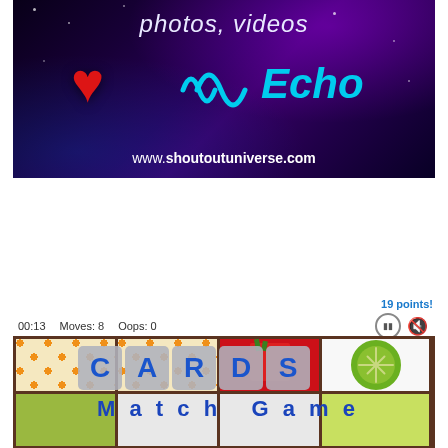[Figure (screenshot): Promotional banner for ShoutoutUniverse showing 'photos, videos', a red heart, cyan sound waves, 'Echo' text in cyan italic, and website URL www.shoutoutuniverse.com on a dark galaxy background]
19 points!
00:13   Moves: 8   Oops: 0
[Figure (screenshot): CARDS Match Game interface showing a fruit-themed memory card matching game grid with orange slices, strawberry drink, kiwi, banana, and lime cards. Overlay shows 'CARDS' in tiled letters and 'Match Game' text in blue.]